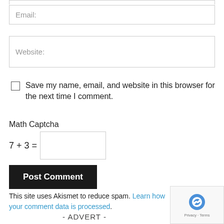Email:
Website:
Save my name, email, and website in this browser for the next time I comment.
Math Captcha
7 + 3 =
Post Comment
This site uses Akismet to reduce spam. Learn how your comment data is processed.
- ADVERT -